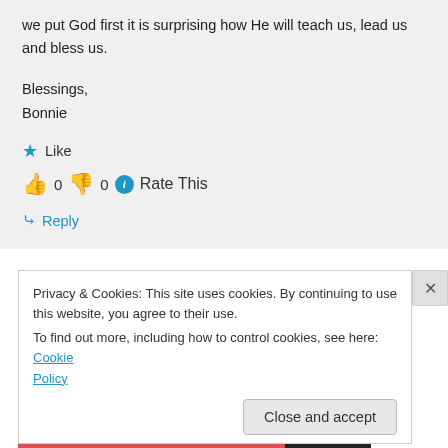we put God first it is surprising how He will teach us, lead us and bless us.
Blessings,
Bonnie
★ Like
👍 0 👎 0 ℹ Rate This
↪ Reply
Privacy & Cookies: This site uses cookies. By continuing to use this website, you agree to their use.
To find out more, including how to control cookies, see here: Cookie Policy
Close and accept